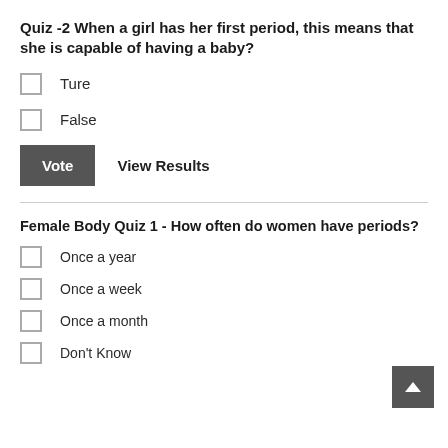Quiz -2 When a girl has her first period, this means that she is capable of having a baby?
Ture
False
Vote   View Results
Female Body Quiz 1 - How often do women have periods?
Once a year
Once a week
Once a month
Don't Know